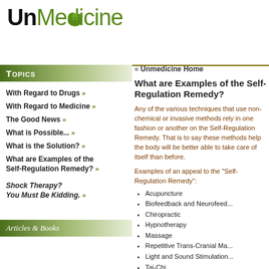[Figure (logo): UnMedicine logo with stylized brain icon above the 'i' in Medicine. 'Un' in black bold, 'Medicine' in green.]
Topics
With Regard to Drugs »
With Regard to Medicine »
The Good News »
What is Possible... »
What is the Solution? »
What are Examples of the Self-Regulation Remedy? »
Shock Therapy? You Must Be Kidding. »
Articles & Books
« Unmedicine Home
What are Examples of the Self-Regulation Remedy?
Any of the various techniques that use non-chemical or invasive methods rely in one fashion or another on the Self-Regulation Remedy. That is to say these methods help the body will be better able to take care of itself than before.
Examples of an appeal to the "Self-Regulation Remedy":
Acupuncture
Biofeedback and Neurofeed...
Chiropractic
Hypnotherapy
Massage
Repetitive Trans-Cranial Ma...
Light and Sound Stimulation...
Tai-Chi